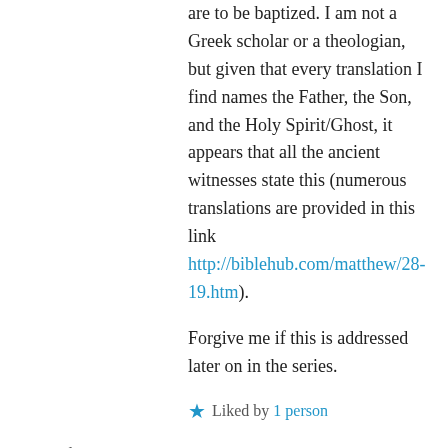are to be baptized. I am not a Greek scholar or a theologian, but given that every translation I find names the Father, the Son, and the Holy Spirit/Ghost, it appears that all the ancient witnesses state this (numerous translations are provided in this link http://biblehub.com/matthew/28-19.htm).
Forgive me if this is addressed later on in the series.
★ Liked by 1 person
↪ Reply
RJ Dawson on October 22, 2016 at 3:18 PM
Thank you for the comment, Deanna. I